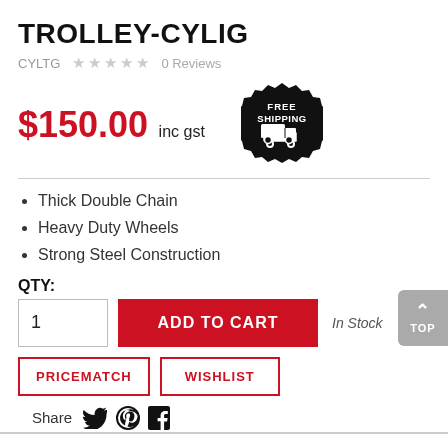TROLLEY-CYLIG
CYLTG   ★☆☆☆☆  0 Reviews
$150.00 inc gst
[Figure (illustration): Free Shipping badge - black starburst badge with 'FREE SHIPPING' text and truck icon]
Thick Double Chain
Heavy Duty Wheels
Strong Steel Construction
QTY:
1  ADD TO CART  In Stock
PRICEMATCH  WISHLIST  Share (Twitter) (Pinterest) (Facebook)